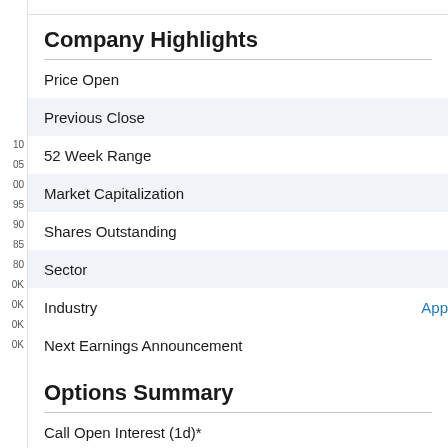Company Highlights
Price Open
Previous Close
52 Week Range
Market Capitalization
Shares Outstanding
Sector
Industry
Next Earnings Announcement
Options Summary
Call Open Interest (1d)*
Put Open Interest (1d)*
Call Volume (1d)*
Put Volume (1d)*
Put Call Open Interest Ratio (1d)*
Put Call Volume Ratio (1d)*